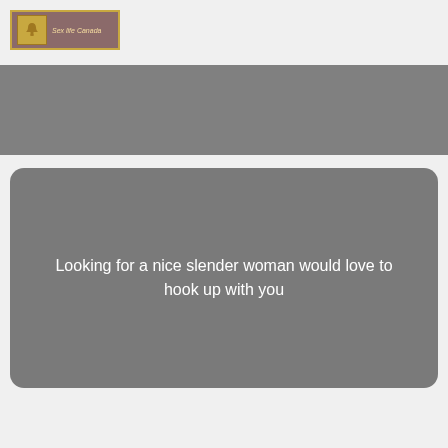[Figure (logo): Sex life Canada logo with bell icon in golden square and text 'Sex life Canada' on a dark brownish-red background]
[Figure (other): Gray horizontal banner/advertisement area]
Looking for a nice slender woman would love to hook up with you